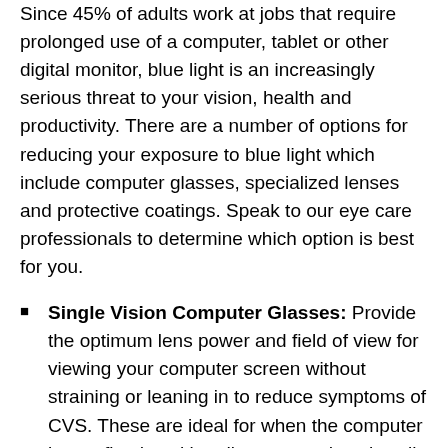Since 45% of adults work at jobs that require prolonged use of a computer, tablet or other digital monitor, blue light is an increasingly serious threat to your vision, health and productivity. There are a number of options for reducing your exposure to blue light which include computer glasses, specialized lenses and protective coatings. Speak to our eye care professionals to determine which option is best for you.
Single Vision Computer Glasses: Provide the optimum lens power and field of view for viewing your computer screen without straining or leaning in to reduce symptoms of CVS. These are ideal for when the computer is at a fixed working distance, and work well if the user needs to view multiple screens at the same working distance.